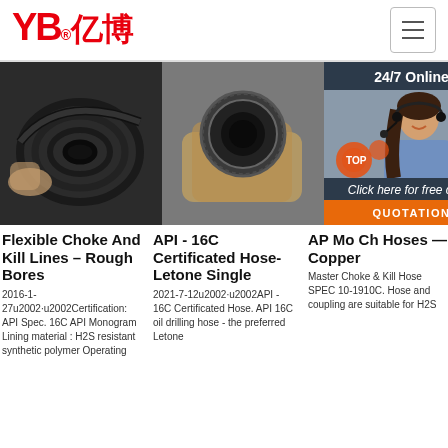[Figure (logo): YB亿博 logo in red with registered trademark symbol]
[Figure (photo): Flexible choke and kill hose coils, black rubber hoses bundled together]
[Figure (photo): API 16C certified hose end-on view showing inner bore, hand holding hose]
[Figure (photo): Customer service representative with headset, 24/7 Online chat overlay with quotation button]
Flexible Choke And Kill Lines – Rough Bores
2016-1-27u2002·u2002Certification: API Spec. 16C API Monogram Lining material : H2S resistant synthetic polymer Operating
API - 16C Certificated Hose-Letone Single
2021-7-12u2002·u2002API - 16C Certificated Hose. API 16C oil drilling hose - the preferred Letone
AP Mo Ch Hoses — Copper
Master Choke & Kill Hose SPEC 10-1910C. Hose and coupling are suitable for H2S